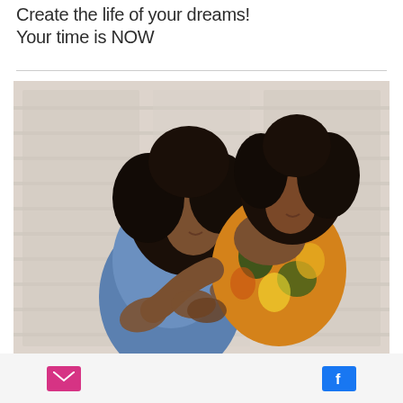Create the life of your dreams! Your time is NOW
[Figure (photo): Two young Black women embracing warmly in front of a white-painted wooden wall/shutters. One woman wears a denim jacket, the other wears a colorful floral off-shoulder top. Both have natural curly hair and are smiling with eyes closed.]
Email icon | Facebook icon